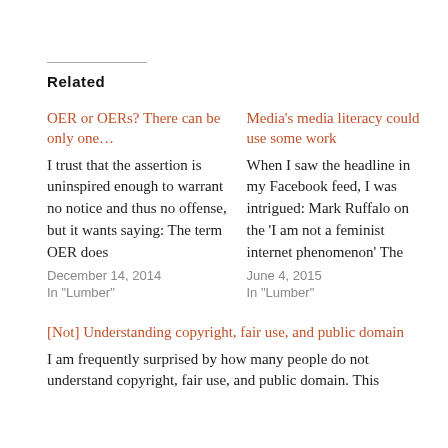Related
OER or OERs? There can be only one…
I trust that the assertion is uninspired enough to warrant no notice and thus no offense, but it wants saying: The term OER does
December 14, 2014
In "Lumber"
Media's media literacy could use some work
When I saw the headline in my Facebook feed, I was intrigued: Mark Ruffalo on the 'I am not a feminist internet phenomenon' The
June 4, 2015
In "Lumber"
[Not] Understanding copyright, fair use, and public domain
I am frequently surprised by how many people do not understand copyright, fair use, and public domain. This